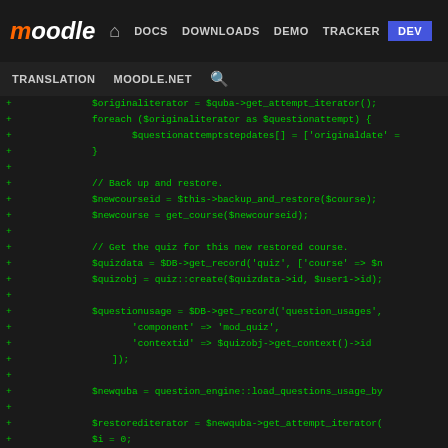moodle DOCS DOWNLOADS DEMO TRACKER DEV
TRANSLATION MOODLE.NET
[Figure (screenshot): Code diff screenshot showing PHP code with green plus signs indicating added lines. Code includes: $originaliterator = $quba->get_attempt_iterator(); foreach ($originaliterator as $questionattempt) { $questionattemptstepdates[] = ['originaldate' = } // Back up and restore. $newcourseid = $this->backup_and_restore($course); $newcourse = get_course($newcourseid); // Get the quiz for this new restored course. $quizdata = $DB->get_record('quiz', ['course' => $n $quizobj = quiz::create($quizdata->id, $user1->id); $questionusage = $DB->get_record('question_usages', 'component' => 'mod_quiz', 'contextid' => $quizobj->get_context()->id ]); $newquba = question_engine::load_questions_usage_by $restorediterator = $newquba->get_attempt_iterator( $i = 0; foreach ($restorediterator as $restoredquestionatte $questionattemptstepdates[$i]['restoredate'] = $i++; }]